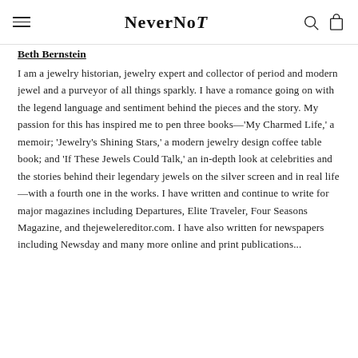NeverNoT
Beth Bernstein
I am a jewelry historian, jewelry expert and collector of period and modern jewel and a purveyor of all things sparkly. I have a romance going on with the legend language and sentiment behind the pieces and the story. My passion for this has inspired me to pen three books—'My Charmed Life,' a memoir; 'Jewelry's Shining Stars,' a modern jewelry design coffee table book; and 'If These Jewels Could Talk,' an in-depth look at celebrities and the stories behind their legendary jewels on the silver screen and in real life—with a fourth one in the works. I have written and continue to write for major magazines including Departures, Elite Traveler, Four Seasons Magazine, and thejewelereditor.com. I have also written for newspapers including Newsday and many more online and print publications...